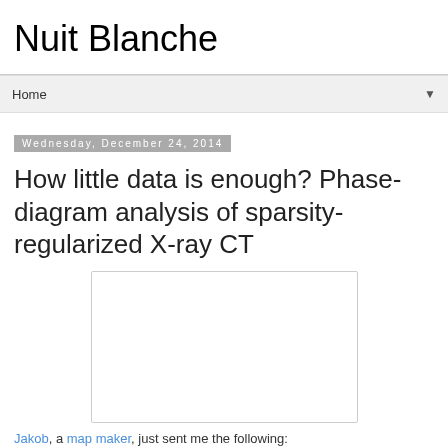Nuit Blanche
Home
Wednesday, December 24, 2014
How little data is enough? Phase-diagram analysis of sparsity-regularized X-ray CT
[Figure (other): Blank white image placeholder with light border]
Jakob, a map maker, just sent me the following: